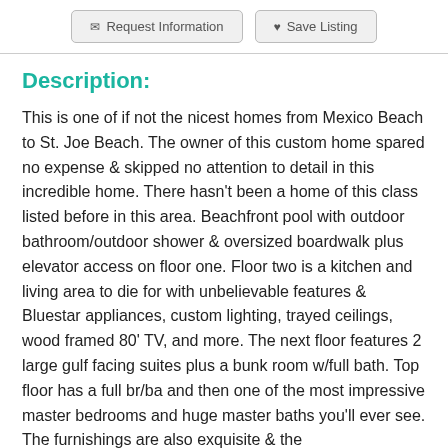Request Information | Save Listing
Description:
This is one of if not the nicest homes from Mexico Beach to St. Joe Beach. The owner of this custom home spared no expense & skipped no attention to detail in this incredible home. There hasn't been a home of this class listed before in this area. Beachfront pool with outdoor bathroom/outdoor shower & oversized boardwalk plus elevator access on floor one. Floor two is a kitchen and living area to die for with unbelievable features & Bluestar appliances, custom lighting, trayed ceilings, wood framed 80' TV, and more. The next floor features 2 large gulf facing suites plus a bunk room w/full bath. Top floor has a full br/ba and then one of the most impressive master bedrooms and huge master baths you'll ever see. The furnishings are also exquisite & the